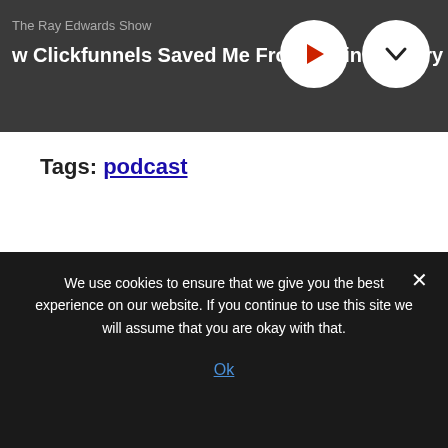The Ray Edwards Show
How Clickfunnels Saved Me From Brain Surgery
Tags: podcast
[Figure (photo): Headshot of a bald smiling man in a blue suit jacket against a brick background]
We use cookies to ensure that we give you the best experience on our website. If you continue to use this site we will assume that you are okay with that.
Ok